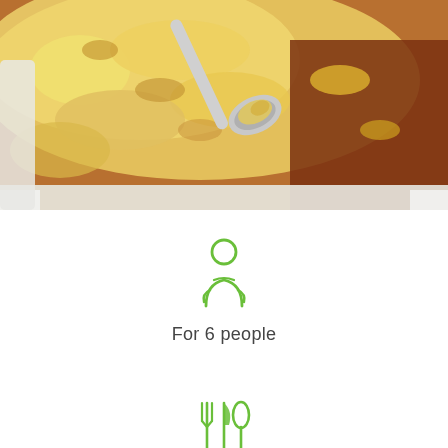[Figure (photo): A baked casserole dish with golden cheesy mashed potato topping and a spoon lifting a portion revealing a chili or mince filling with kidney beans and corn underneath]
[Figure (illustration): Green person/chef icon indicating serving size]
For 6 people
[Figure (illustration): Green cutlery icon (fork, knife, spoon)]